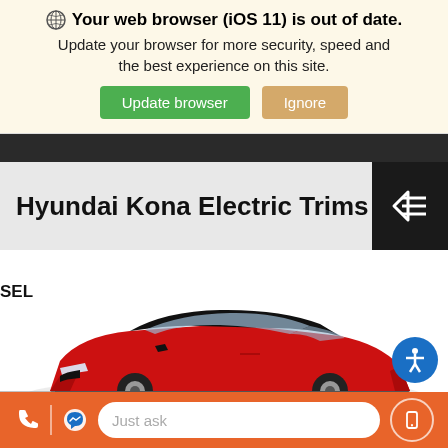[Figure (screenshot): Browser update notification banner with globe icon, bold warning text, and two buttons: 'Update browser' (green) and 'Ignore' (tan/gold)]
Hyundai Kona Electric Trims
SEL
[Figure (photo): Red Hyundai Kona Electric car photographed from a front three-quarter angle]